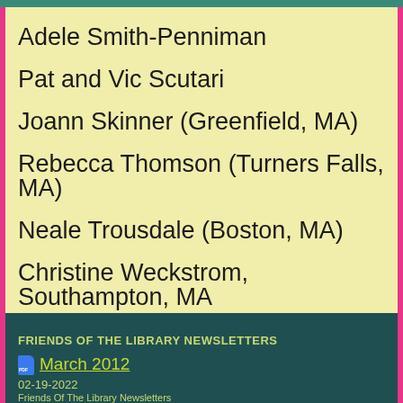Adele Smith-Penniman
Pat and Vic Scutari
Joann Skinner (Greenfield, MA)
Rebecca Thomson (Turners Falls, MA)
Neale Trousdale (Boston, MA)
Christine Weckstrom, Southampton, MA
Helene A. Wegrzynek (Haydenville, MA)
FRIENDS OF THE LIBRARY NEWSLETTERS
March 2012
02-19-2022
Friends Of The Library Newsletters